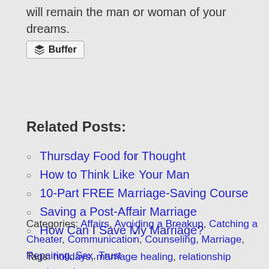will remain the man or woman of your dreams.
[Figure (screenshot): Buffer button/widget with stacked layers icon and bold 'Buffer' label]
Related Posts:
Thursday Food for Thought
How to Think Like Your Man
10-Part FREE Marriage-Saving Course
Saving a Post-Affair Marriage
How Can I Save My Marriage?
Categories: Affairs, Avoiding a Breakup, Catching a Cheater, Communication, Counseling, Marriage, Repairing, Sex, Trust
Tags: holidays, marriage healing, relationship repair, saving